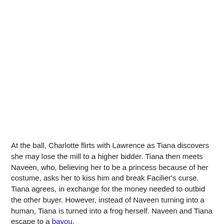At the ball, Charlotte flirts with Lawrence as Tiana discovers she may lose the mill to a higher bidder. Tiana then meets Naveen, who, believing her to be a princess because of her costume, asks her to kiss him and break Facilier's curse. Tiana agrees, in exchange for the money needed to outbid the other buyer. However, instead of Naveen turning into a human, Tiana is turned into a frog herself. Naveen and Tiana escape to a bayou.